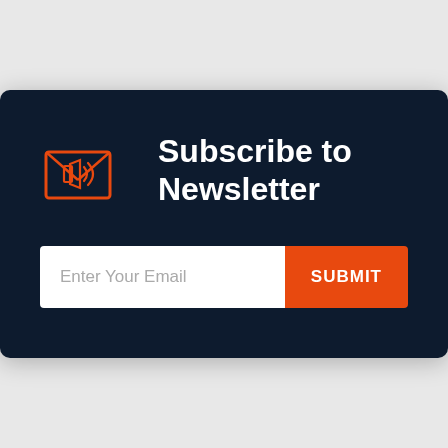[Figure (illustration): Orange outline icon of an envelope with a megaphone/loudspeaker inside it and sound waves, suggesting newsletter or announcement.]
Subscribe to Newsletter
Enter Your Email
SUBMIT